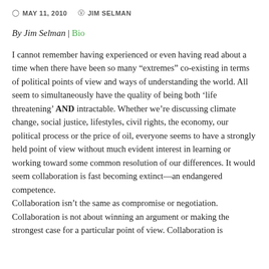MAY 11, 2010   JIM SELMAN
By Jim Selman | Bio
I cannot remember having experienced or even having read about a time when there have been so many “extremes” co-existing in terms of political points of view and ways of understanding the world. All seem to simultaneously have the quality of being both ‘life threatening’ AND intractable. Whether we’re discussing climate change, social justice, lifestyles, civil rights, the economy, our political process or the price of oil, everyone seems to have a strongly held point of view without much evident interest in learning or working toward some common resolution of our differences. It would seem collaboration is fast becoming extinct—an endangered competence.
Collaboration isn’t the same as compromise or negotiation. Collaboration is not about winning an argument or making the strongest case for a particular point of view. Collaboration is